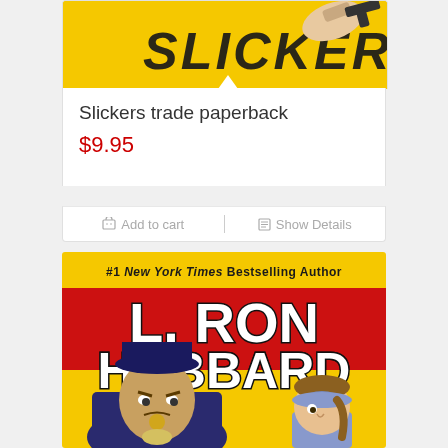[Figure (illustration): Top portion of a book cover with yellow background showing partial title text and a hand holding a gun]
Slickers trade paperback
$9.95
Add to cart
Show Details
[Figure (illustration): Book cover for L. Ron Hubbard with yellow top band reading #1 New York Times Bestselling Author, red middle band with large white L. RON HUBBARD text, and yellow bottom showing illustrated villain and girl characters]